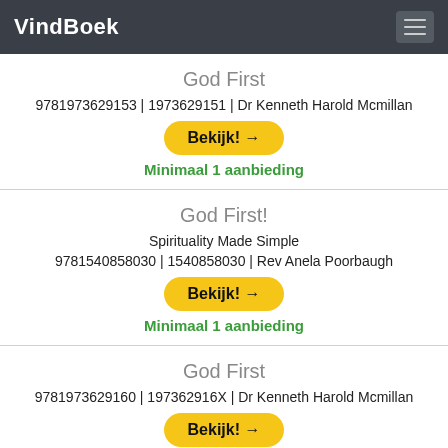VindBoek
God First
9781973629153 | 1973629151 | Dr Kenneth Harold Mcmillan
Bekijk! →
Minimaal 1 aanbieding
God First!
Spirituality Made Simple
9781540858030 | 1540858030 | Rev Anela Poorbaugh
Bekijk! →
Minimaal 1 aanbieding
God First
9781973629160 | 197362916X | Dr Kenneth Harold Mcmillan
Bekijk! →